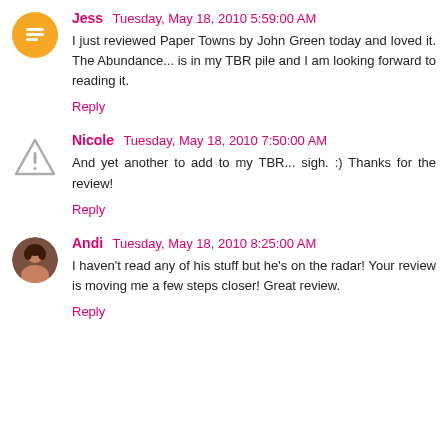Jess Tuesday, May 18, 2010 5:59:00 AM
I just reviewed Paper Towns by John Green today and loved it. The Abundance... is in my TBR pile and I am looking forward to reading it.
Reply
Nicole Tuesday, May 18, 2010 7:50:00 AM
And yet another to add to my TBR... sigh. :) Thanks for the review!
Reply
Andi Tuesday, May 18, 2010 8:25:00 AM
I haven't read any of his stuff but he's on the radar! Your review is moving me a few steps closer! Great review.
Reply